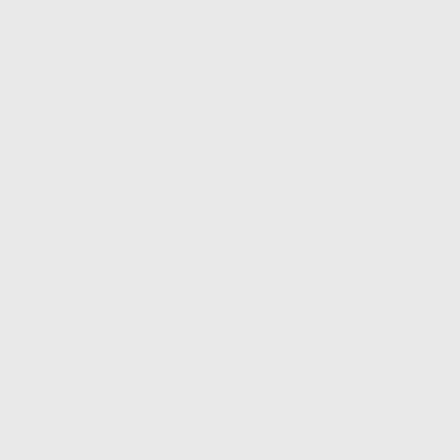hostilities, now impending, until possible, arrange for an adjustment
Resolved, That said committee Messrs. and, of the House of Delegates practicable, to the General Assembly June next.
Passed-yeas 11, nays 3, as before
May 14-The House filled the blanks passed the resolution-yeas 24, nays
YEAS-Messrs. Kilbourn, (Speaker of P. G., Starkey, Kessler, Straugh Wallis, Sangston, Scott, Griffith,
NAYS-Messrs. Welch, Worthington Johnson, Salmon, Morfit, Fiery, Brown-18.
Mr. Goldsborough of Talbot m commissioners provided for to m